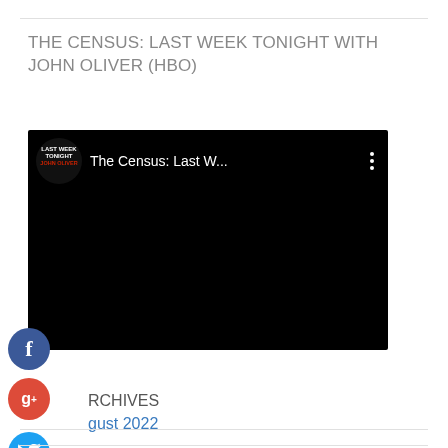THE CENSUS: LAST WEEK TONIGHT WITH JOHN OLIVER (HBO)
[Figure (screenshot): Embedded YouTube video thumbnail showing 'The Census: Last W...' from Last Week Tonight with John Oliver channel, dark/black video frame with channel logo and title bar at top]
ARCHIVES
August 2022
July 2022